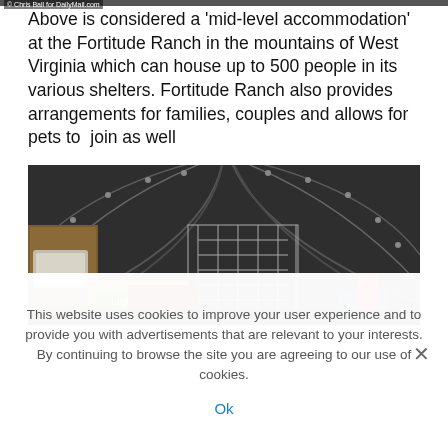[Figure (photo): Top edge of a photo showing dark background, partially cropped]
© Chris Ball for DailyMail.com
Above is considered a 'mid-level accommodation' at the Fortitude Ranch in the mountains of West Virginia which can house up to 500 people in its various shelters. Fortitude Ranch also provides arrangements for families, couples and allows for pets to join as well
[Figure (photo): Interior of a metal Quonset-hut style bunker shelter with arched corrugated metal walls, storage items including wire shelving, boxes labeled 'Lights', and various supplies stacked inside.]
This website uses cookies to improve your user experience and to provide you with advertisements that are relevant to your interests. By continuing to browse the site you are agreeing to our use of cookies.
Ok